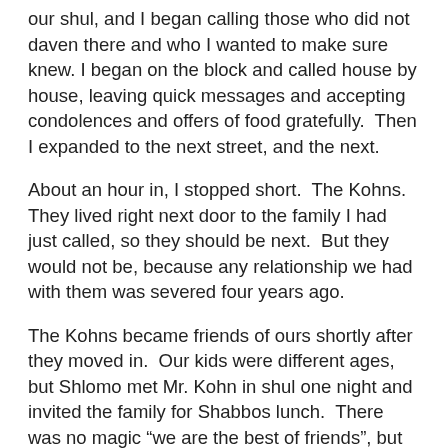our shul, and I began calling those who did not daven there and who I wanted to make sure knew. I began on the block and called house by house, leaving quick messages and accepting condolences and offers of food gratefully.  Then I expanded to the next street, and the next.
About an hour in, I stopped short.  The Kohns.  They lived right next door to the family I had just called, so they should be next.  But they would not be, because any relationship we had with them was severed four years ago.
The Kohns became friends of ours shortly after they moved in.  Our kids were different ages, but Shlomo met Mr. Kohn in shul one night and invited the family for Shabbos lunch.  There was no magic “we are the best of friends”, but we saw each other often and became close enough to send shalach manos and be invited to each others’ simchos.
Five years later, Shlomo and Mr. Kohn had a fight over something that happened in shul.  Shlomo is one of the gabbo’im, and Mr. Kohn was upset about something to do with alivos, or kibuddim, or I don’t